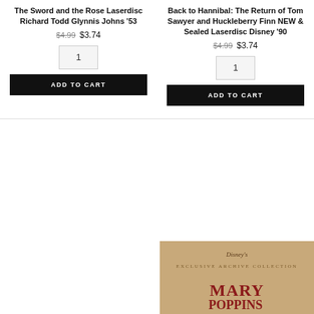The Sword and the Rose Laserdisc Richard Todd Glynnis Johns '53
$4.99  $3.74
1
ADD TO CART
Back to Hannibal: The Return of Tom Sawyer and Huckleberry Finn NEW & Sealed Laserdisc Disney '90
$4.99  $3.74
1
ADD TO CART
[Figure (photo): Partial image of Disney Mary Poppins exclusive archive collection disc cover, showing brown/tan background with Disney's cursive logo, 'Exclusive Archive Collection' text, and 'Mary Poppins' title in red/maroon at the bottom]